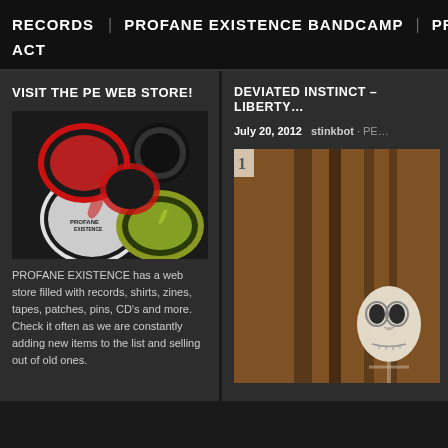RECORDS   PROFANE EXISTENCE BANDCAMP   PROFANE EXISTENCE...
ACT
VISIT THE PE WEB STORE!
[Figure (photo): Pile of circular patches/pins with Profane Existence logo in black, red, white, and yellow on black background]
PROFANE EXISTENCE has a web store filled with records, shirts, zines, tapes, patches, pins, CD's and more. Check it often as we are constantly adding new items to the list and selling out of old ones.
DEVIATED INSTINCT – LIBERTY...
July 20, 2012   stinkbot · PE...
[Figure (photo): Dark earthy-toned artwork showing a skeletal figure with goggle-like eyes against a wooden background with vertical dark lines]